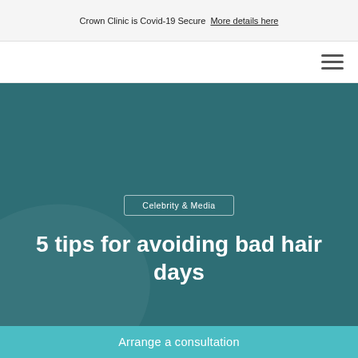Crown Clinic is Covid-19 Secure  More details here
[Figure (other): Navigation bar with hamburger menu icon on the right]
Celebrity & Media
5 tips for avoiding bad hair days
Arrange a consultation